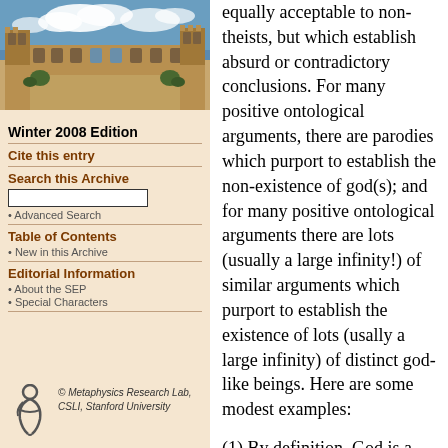[Figure (photo): Photograph of a university building (sandstone Gothic architecture) with blue sky and clouds]
Winter 2008 Edition
Cite this entry
Search this Archive
Advanced Search
Table of Contents
New in this Archive
Editorial Information
About the SEP
Special Characters
© Metaphysics Research Lab, CSLI, Stanford University
equally acceptable to non-theists, but which establish absurd or contradictory conclusions. For many positive ontological arguments, there are parodies which purport to establish the non-existence of god(s); and for many positive ontological arguments there are lots (usually a large infinity!) of similar arguments which purport to establish the existence of lots (usally a large infinity) of distinct god-like beings. Here are some modest examples:
(1) By definition, God is a non-existent being who has every (other) perfection. Hence God does not exist.